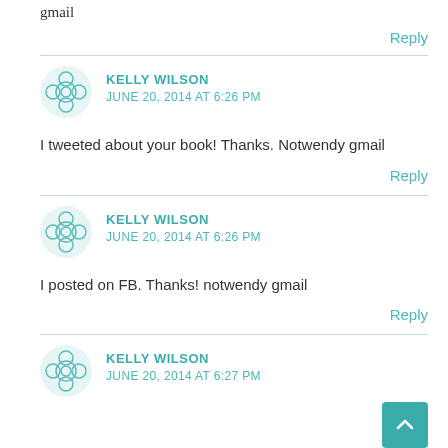gmail
Reply
KELLY WILSON
JUNE 20, 2014 AT 6:26 PM
I tweeted about your book! Thanks. Notwendy gmail
Reply
KELLY WILSON
JUNE 20, 2014 AT 6:26 PM
I posted on FB. Thanks! notwendy gmail
Reply
KELLY WILSON
JUNE 20, 2014 AT 6:27 PM